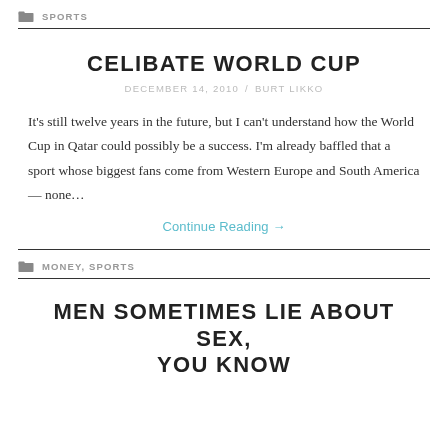SPORTS
CELIBATE WORLD CUP
DECEMBER 14, 2010  /  BURT LIKKO
It’s still twelve years in the future, but I can’t understand how the World Cup in Qatar could possibly be a success. I’m already baffled that a sport whose biggest fans come from Western Europe and South America — none…
Continue Reading →
MONEY, SPORTS
MEN SOMETIMES LIE ABOUT SEX, YOU KNOW